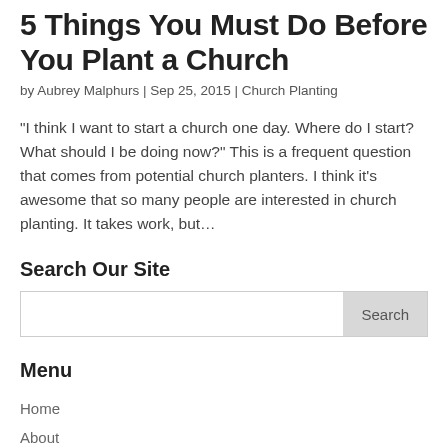5 Things You Must Do Before You Plant a Church
by Aubrey Malphurs | Sep 25, 2015 | Church Planting
“I think I want to start a church one day. Where do I start? What should I be doing now?” This is a frequent question that comes from potential church planters. I think it’s awesome that so many people are interested in church planting. It takes work, but…
Search Our Site
Menu
Home
About
Services